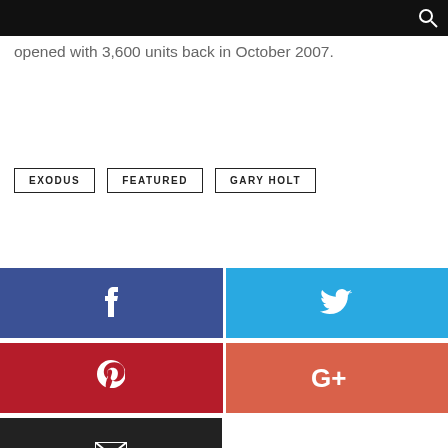opened with 3,600 units back in October 2007.
EXODUS
FEATURED
GARY HOLT
[Figure (infographic): Social share buttons: Facebook (blue), Twitter (light blue), Pinterest (red), Google+ (orange-red), Email (dark/black)]